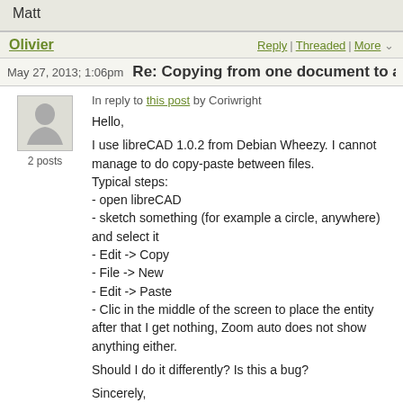Matt
Olivier
Reply | Threaded | More
May 27, 2013; 1:06pm  Re: Copying from one document to another
In reply to this post by Coriwright
2 posts
Hello,

I use libreCAD 1.0.2 from Debian Wheezy. I cannot manage to do copy-paste between files.
Typical steps:
- open libreCAD
- sketch something (for example a circle, anywhere) and select it
- Edit -> Copy
- File -> New
- Edit -> Paste
- Clic in the middle of the screen to place the entity
after that I get nothing, Zoom auto does not show anything either.

Should I do it differently? Is this a bug?

Sincerely,
Olivier